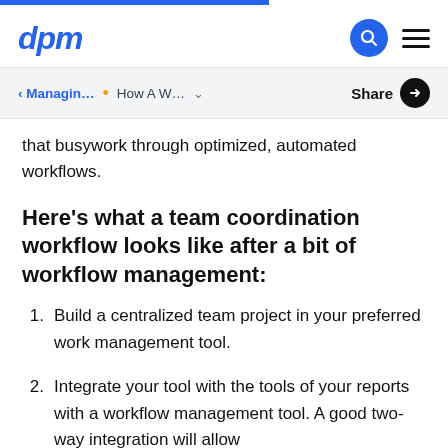dpm
that busywork through optimized, automated workflows.
Here's what a team coordination workflow looks like after a bit of workflow management:
Build a centralized team project in your preferred work management tool.
Integrate your tool with the tools of your reports with a workflow management tool. A good two-way integration will allow